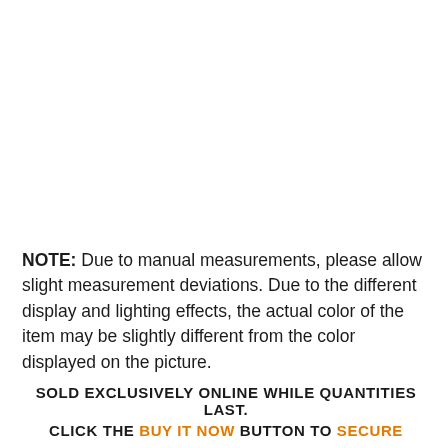NOTE: Due to manual measurements, please allow slight measurement deviations. Due to the different display and lighting effects, the actual color of the item may be slightly different from the color displayed on the picture.
SOLD EXCLUSIVELY ONLINE WHILE QUANTITIES LAST.
CLICK THE BUY IT NOW BUTTON TO SECURE